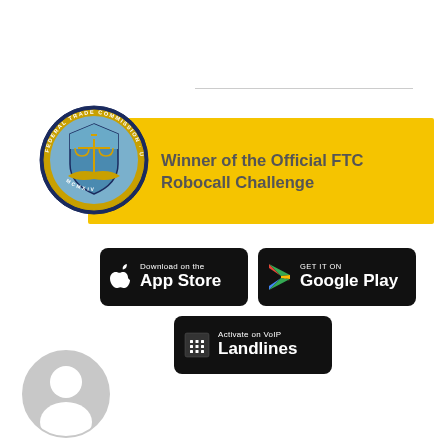[Figure (illustration): Horizontal divider line near top of page]
[Figure (logo): FTC seal (Federal Trade Commission) overlapping a yellow banner. Banner contains text: Winner of the Official FTC Robocall Challenge]
[Figure (other): App Store download button (Apple)]
[Figure (other): Google Play download button]
[Figure (other): Activate on VoIP Landlines button]
[Figure (illustration): Generic user/person avatar silhouette icon at bottom left]